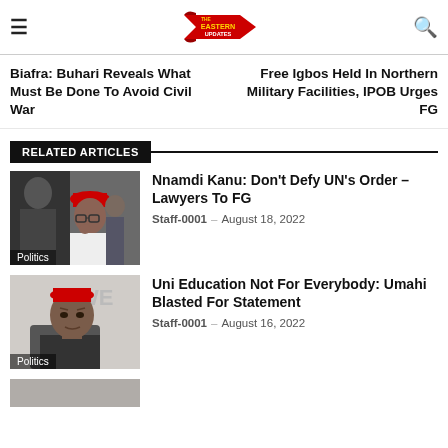The Eastern Updates — navigation header with hamburger menu, logo, and search icon
Biafra: Buhari Reveals What Must Be Done To Avoid Civil War
Free Igbos Held In Northern Military Facilities, IPOB Urges FG
RELATED ARTICLES
[Figure (photo): Photo of Nnamdi Kanu wearing red traditional hat and white attire, with Politics label overlay]
Nnamdi Kanu: Don't Defy UN's Order – Lawyers To FG
Staff-0001 – August 18, 2022
[Figure (photo): Photo of a man wearing red cap, Politics label overlay]
Uni Education Not For Everybody: Umahi Blasted For Statement
Staff-0001 – August 16, 2022